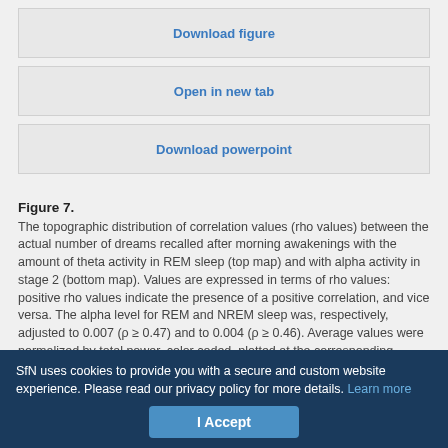Download figure
Open in new tab
Download powerpoint
Figure 7. The topographic distribution of correlation values (rho values) between the actual number of dreams recalled after morning awakenings with the amount of theta activity in REM sleep (top map) and with alpha activity in stage 2 (bottom map). Values are expressed in terms of rho values: positive rho values indicate the presence of a positive correlation, and vice versa. The alpha level for REM and NREM sleep was, respectively, adjusted to 0.007 (ρ ≥ 0.47) and to 0.004 (ρ ≥ 0.46). Average values were normalized by total power, color coded, plotted at the corresponding position on the planar projection of the scalp surface, and interpolated (biharmonic spline) between
SfN uses cookies to provide you with a secure and custom website experience. Please read our privacy policy for more details. Learn more
I Accept